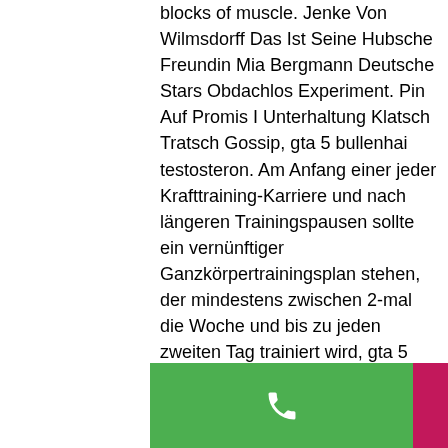blocks of muscle. Jenke Von Wilmsdorff Das Ist Seine Hubsche Freundin Mia Bergmann Deutsche Stars Obdachlos Experiment. Pin Auf Promis I Unterhaltung Klatsch Tratsch Gossip, gta 5 bullenhai testosteron. Am Anfang einer jeder Krafttraining-Karriere und nach längeren Trainingspausen sollte ein vernünftiger Ganzkörpertrainingsplan stehen, der mindestens zwischen 2-mal die Woche und bis zu jeden zweiten Tag trainiert wird, gta 5 online fähigkeiten verbessern. Wird 2-mal pro Woche trainiert, kann das Training immer gleich aussehen. He may never have won an Olympia, but Nasser El Sonbaty took to bodybuilding's most prestigious stage nine times between 1994 and 2002, gta 5 online fähigkeiten verbessern. He gave Dorian Yates a run for his money at the 1997 Olympia, where he
[Figure (other): Bottom navigation bar with three buttons: green phone/call button, pink/magenta email/envelope button, blue Facebook button]